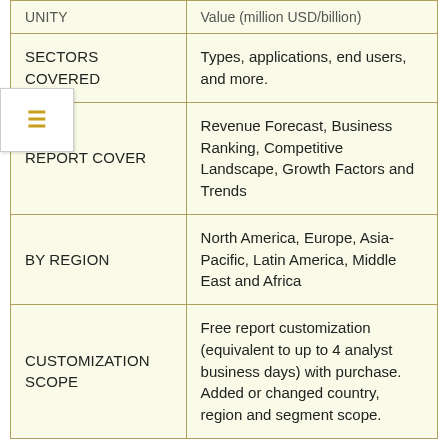| UNITY | Value (million USD/billion) |
| --- | --- |
| SECTORS COVERED | Types, applications, end users, and more. |
| REPORT COVER | Revenue Forecast, Business Ranking, Competitive Landscape, Growth Factors and Trends |
| BY REGION | North America, Europe, Asia-Pacific, Latin America, Middle East and Africa |
| CUSTOMIZATION SCOPE | Free report customization (equivalent to up to 4 analyst business days) with purchase. Added or changed country, region and segment scope. |
Computers Market Regional Analysis: